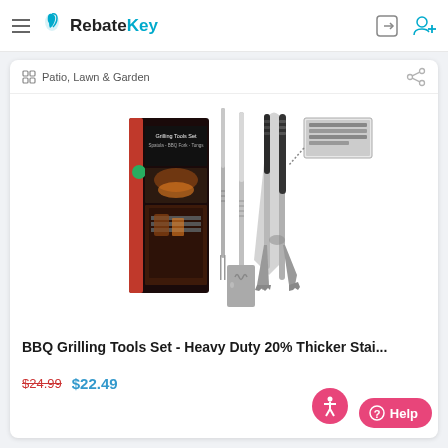RebateKey — hamburger menu, logo, login/signup icons
Patio, Lawn & Garden
[Figure (photo): Product photo of a BBQ Grilling Tools Set showing the box packaging and three stainless steel tools: fork, spatula, and tongs, with a close-up inset of the tong grip]
BBQ Grilling Tools Set - Heavy Duty 20% Thicker Stai...
$24.99  $22.49